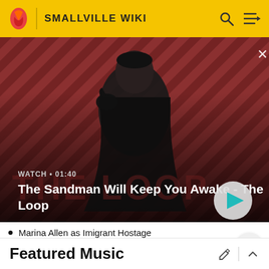SMALLVILLE WIKI
[Figure (screenshot): Video thumbnail for 'The Sandman Will Keep You Awake - The Loop' showing a dark-clad figure with a crow on their shoulder against a red diagonal striped background. Overlay text reads WATCH • 01:40 with a play button.]
Marina Allen as Imigrant Hostage
Kirtsen Buch as Nurse
David Beairsto as Man in Bar #2
Featured Music